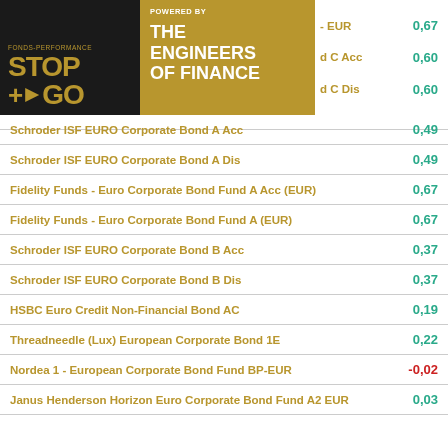[Figure (logo): FONDS-PERFORMANCE STOP+GO logo (black background with gold text) overlaid with POWERED BY THE ENGINEERS OF FINANCE gold box]
| Fund Name | Value |
| --- | --- |
| [partially obscured] - EUR | 0,67 |
| [partially obscured] d C Acc | 0,60 |
| [partially obscured] d C Dis | 0,60 |
| Schroder ISF EURO Corporate Bond A Acc | 0,49 |
| Schroder ISF EURO Corporate Bond A Dis | 0,49 |
| Fidelity Funds - Euro Corporate Bond Fund A Acc (EUR) | 0,67 |
| Fidelity Funds - Euro Corporate Bond Fund A (EUR) | 0,67 |
| Schroder ISF EURO Corporate Bond B Acc | 0,37 |
| Schroder ISF EURO Corporate Bond B Dis | 0,37 |
| HSBC Euro Credit Non-Financial Bond AC | 0,19 |
| Threadneedle (Lux) European Corporate Bond 1E | 0,22 |
| Nordea 1 - European Corporate Bond Fund BP-EUR | -0,02 |
| Janus Henderson Horizon Euro Corporate Bond Fund A2 EUR | 0,03 |